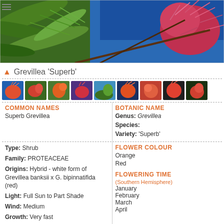[Figure (photo): Close-up photograph of Grevillea Superb plant with red/pink spidery flowers against blue sky with green needle-like foliage]
Grevillea 'Superb'
[Figure (photo): Strip of 9 thumbnail images showing various views of Grevillea Superb plant with red and orange flowers]
COMMON NAMES
Superb Grevillea
BOTANIC NAME
Genus: Grevillea
Species:
Variety: 'Superb'
Type: Shrub
Family: PROTEACEAE
Origins: Hybrid - white form of Grevillea banksii x G. bipinnatifida (red)
Light: Full Sun to Part Shade
Wind: Medium
Growth: Very fast
FLOWER COLOUR
Orange
Red
FLOWERING TIME
(Southern Hemisphere)
January
February
March
April